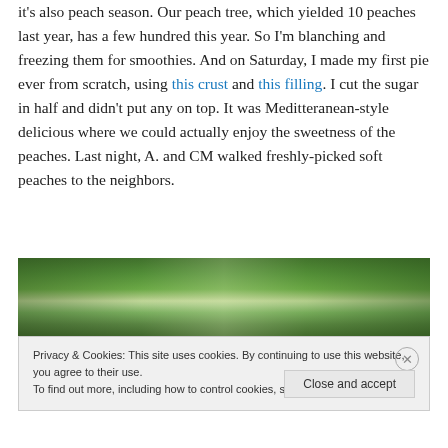it's also peach season. Our peach tree, which yielded 10 peaches last year, has a few hundred this year. So I'm blanching and freezing them for smoothies. And on Saturday, I made my first pie ever from scratch, using this crust and this filling. I cut the sugar in half and didn't put any on top. It was Meditteranean-style delicious where we could actually enjoy the sweetness of the peaches. Last night, A. and CM walked freshly-picked soft peaches to the neighbors.
[Figure (photo): Outdoor photo showing green leafy trees and foliage, likely a peach tree in summer]
Privacy & Cookies: This site uses cookies. By continuing to use this website, you agree to their use. To find out more, including how to control cookies, see here: Cookie Policy
Close and accept